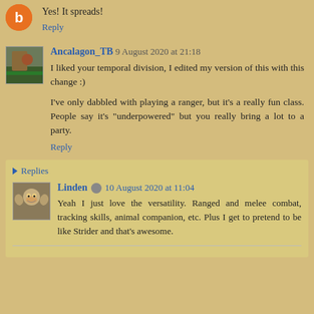Yes! It spreads!
Reply
Ancalagon_TB 9 August 2020 at 21:18
I liked your temporal division, I edited my version of this with this change :)
I've only dabbled with playing a ranger, but it's a really fun class. People say it's "underpowered" but you really bring a lot to a party.
Reply
Replies
Linden 10 August 2020 at 11:04
Yeah I just love the versatility. Ranged and melee combat, tracking skills, animal companion, etc. Plus I get to pretend to be like Strider and that's awesome.